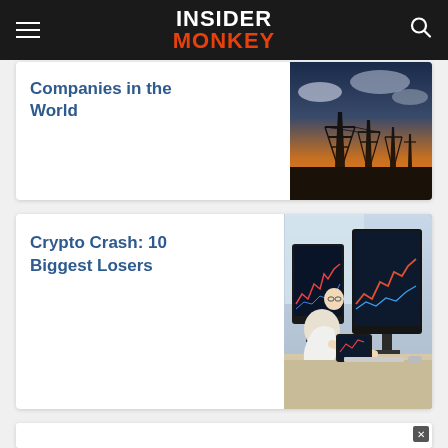INSIDER MONKEY
Companies in the World
[Figure (photo): Power transmission towers/pylons at sunset with orange sky]
Crypto Crash: 10 Biggest Losers
[Figure (photo): Man sitting at desk with multiple monitors showing financial charts, holding tablet]
[Figure (screenshot): Advertisement box with close button (x)]